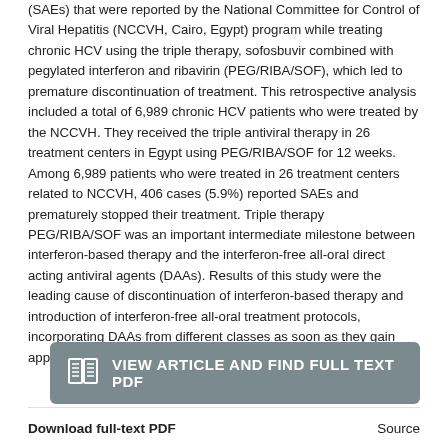(SAEs) that were reported by the National Committee for Control of Viral Hepatitis (NCCVH, Cairo, Egypt) program while treating chronic HCV using the triple therapy, sofosbuvir combined with pegylated interferon and ribavirin (PEG/RIBA/SOF), which led to premature discontinuation of treatment. This retrospective analysis included a total of 6,989 chronic HCV patients who were treated by the NCCVH. They received the triple antiviral therapy in 26 treatment centers in Egypt using PEG/RIBA/SOF for 12 weeks. Among 6,989 patients who were treated in 26 treatment centers related to NCCVH, 406 cases (5.9%) reported SAEs and prematurely stopped their treatment. Triple therapy PEG/RIBA/SOF was an important intermediate milestone between interferon-based therapy and the interferon-free all-oral direct acting antiviral agents (DAAs). Results of this study were the leading cause of discontinuation of interferon-based therapy and introduction of interferon-free all-oral treatment protocols, incorporating DAAs from different classes as soon as they gain approval.
[Figure (other): Button: VIEW ARTICLE AND FIND FULL TEXT PDF]
Download full-text PDF    Source